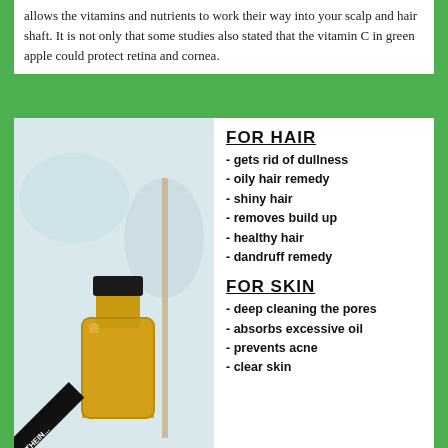allows the vitamins and nutrients to work their way into your scalp and hair shaft. It is not only that some studies also stated that the vitamin C in green apple could protect retina and cornea.
[Figure (infographic): Infographic showing a bottle of apple cider vinegar on the left side with title 'APPLE CIDER VINEGAR FOR HAIR AND SKIN', and on the right side two sections: FOR HAIR with benefits (gets rid of dullness, oily hair remedy, shiny hair, removes build up, healthy hair, dandruff remedy) and FOR SKIN with benefits (deep cleaning the pores, absorbs excessive oil, prevents acne, clear skin)]